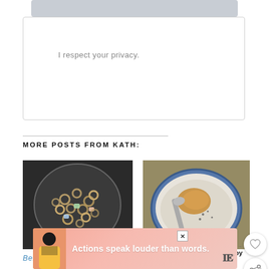I respect your privacy.
MORE POSTS FROM KATH:
[Figure (photo): Overhead view of a bowl of cereal with colorful marshmallow pieces on a dark background]
[Figure (photo): Overhead view of oatmeal with peanut butter in a blue bowl with a spoon]
Behind The Scenes
Hot Eats, Cold Wine
[Figure (photo): Indoor play area or large venue with colorful structures and crowds]
[Figure (infographic): Advertisement with person and text 'Actions speak louder than words.']
WHAT'S NEXT → Weekend Joy